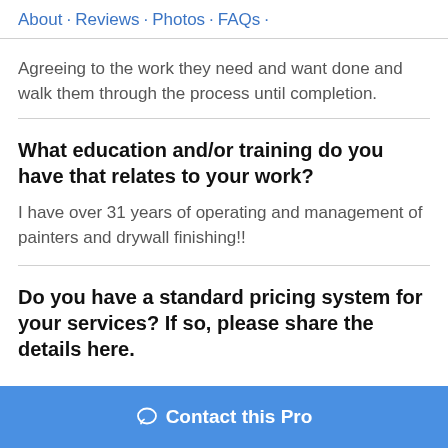About · Reviews · Photos · FAQs ·
Agreeing to the work they need and want done and walk them through the process until completion.
What education and/or training do you have that relates to your work?
I have over 31 years of operating and management of painters and drywall finishing!!
Do you have a standard pricing system for your services? If so, please share the details here.
Contact this Pro